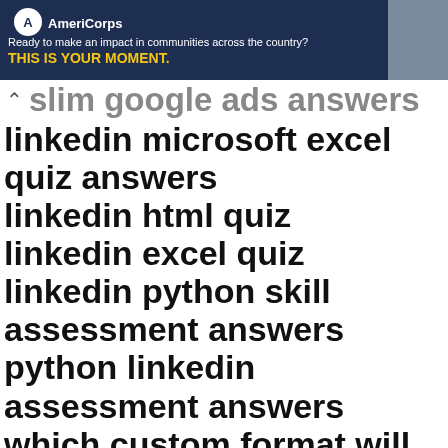[Figure (other): AmeriCorps advertisement banner with dark blue background, logo, tagline 'Ready to make an impact in communities across the country?', headline 'THIS IS YOUR MOMENT.', learn more button, and photo of people]
slim google ads answers
linkedin microsoft excel quiz answers
linkedin html quiz
linkedin excel quiz
linkedin python skill assessment answers
python linkedin assessment answers
which custom format will make the cells in a column s